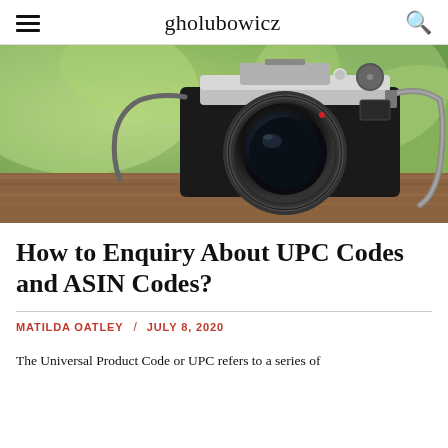gholubowicz
[Figure (photo): A vintage SLR film camera with a large lens and strap, resting on a wooden surface with a blurred green background.]
How to Enquiry About UPC Codes and ASIN Codes?
MATILDA OATLEY / JULY 8, 2020
The Universal Product Code or UPC refers to a series of